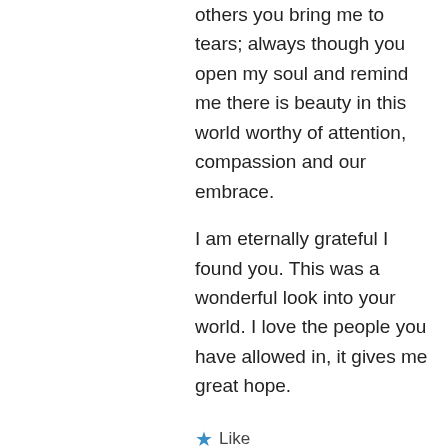others you bring me to tears; always though you open my soul and remind me there is beauty in this world worthy of attention, compassion and our embrace.

I am eternally grateful I found you. This was a wonderful look into your world. I love the people you have allowed in, it gives me great hope.
★ Like
↳ Reply
valeriedavies on April 13, 2014 at 2:28 pm
Dear Val,
What a beautiful gift you have given me in